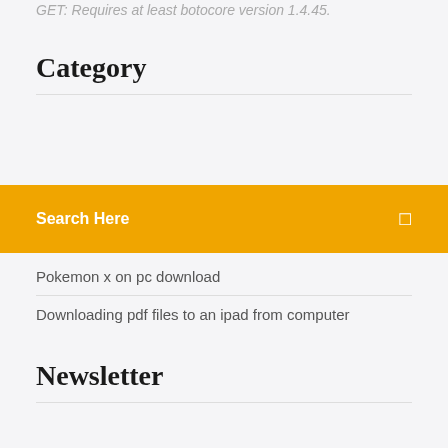GET: Requires at least botocore version 1.4.45.
Category
Search Here
Pokemon x on pc download
Downloading pdf files to an ipad from computer
Newsletter